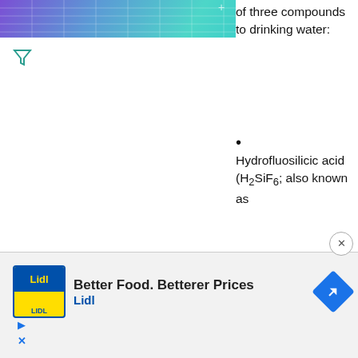[Figure (illustration): Top banner with purple-teal gradient mesh/grid pattern]
[Figure (other): Small green filter/funnel icon on left side]
of three compounds to drinking water:
Hydrofluosilicic acid (H2SiF6; also known as
[Figure (photo): Black and white photograph of industrial water fluoridation machinery and equipment]
[Figure (other): Advertisement: Better Food. Betterer Prices - Lidl]
[Figure (other): Small green filter/funnel icon on lower left]
[Figure (other): Close (X) button circle on right side]
[Figure (other): Play and X icons at bottom left of ad]